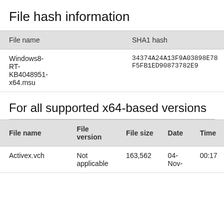File hash information
| File name | SHA1 hash |
| --- | --- |
| Windows8-RT-KB4048951-x64.msu | 34374A24A13F9A03898E78F5FB1ED90873782E9... |
For all supported x64-based versions
| File name | File version | File size | Date | Time |
| --- | --- | --- | --- | --- |
| Activex.vch | Not applicable | 163,562 | 04-Nov- | 00:17 |